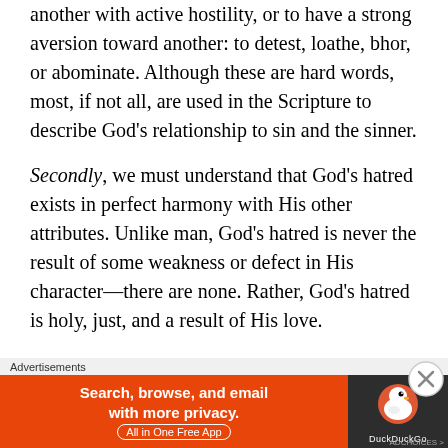another with active hostility, or to have a strong aversion toward another: to detest, loathe, bhor, or abominate. Although these are hard words, most, if not all, are used in the Scripture to describe God's relationship to sin and the sinner.
Secondly, we must understand that God's hatred exists in perfect harmony with His other attributes. Unlike man, God's hatred is never the result of some weakness or defect in His character—there are none. Rather, God's hatred is holy, just, and a result of His love.
Thirdly, we must understand that God's hatred is
Advertisements
[Figure (other): DuckDuckGo advertisement banner: orange left panel with text 'Search, browse, and email with more privacy. All in One Free App' and dark right panel with DuckDuckGo duck logo]